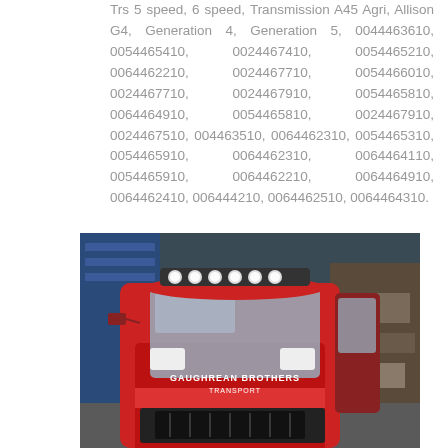Trs 5 speed, 6 speed, Transmission A45 Agri, Allison G4, Generation 4, Generation 5, 0044463610, 0054465410, 0024467410, 0054465210, 0064462210, 0024467710, 0054466010, 0024467710, 0024467910, 0054465810, 0064464910, 0054465810, 0024467910, 0024467510, 004463510, 0064462310, 0054465310, 0054465910, 0064462310, 0064464110, 0054465910, 0064462210, 0064464910, 0064462410, 006444210, 0064462510, 0064464310.
[Figure (photo): A red truck cab with roof-mounted lights inside a workshop garage, with 'GAUGHREAN BROTHERS TRANSPORT' written on the front. Various garage items visible in the background.]